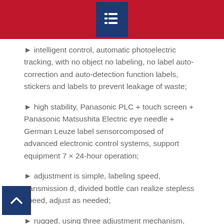intelligent control, automatic photoelectric tracking, with no object no labeling, no label auto-correction and auto-detection function labels, stickers and labels to prevent leakage of waste;
high stability, Panasonic PLC + touch screen + Panasonic Matsushita Electric eye needle + German Leuze label sensorcomposed of advanced electronic control systems, support equipment 7 × 24-hour operation;
adjustment is simple, labeling speed, transmission d, divided bottle can realize stepless speed, adjust as needed;
rugged, using three adjustment mechanism, take